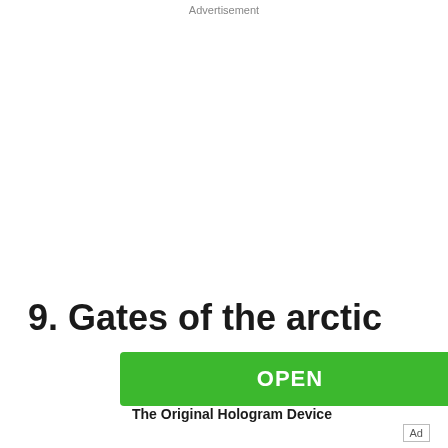Advertisement
9. Gates of the arctic
[Figure (other): Green OPEN button advertisement with ad control icons (play/close)]
The Original Hologram Device
Ad